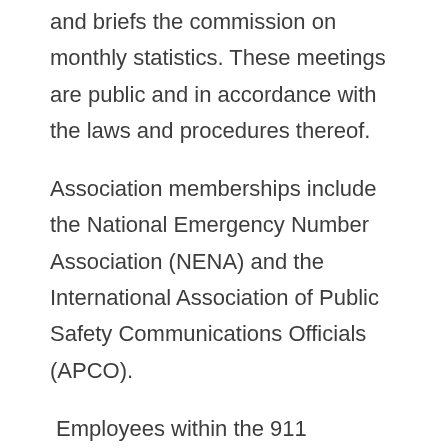and briefs the commission on monthly statistics. These meetings are public and in accordance with the laws and procedures thereof.
Association memberships include the National Emergency Number Association (NENA) and the International Association of Public Safety Communications Officials (APCO).
Employees within the 911 Communication have received specialized training in the following disciplines: Association of Public Safety Communications Officials